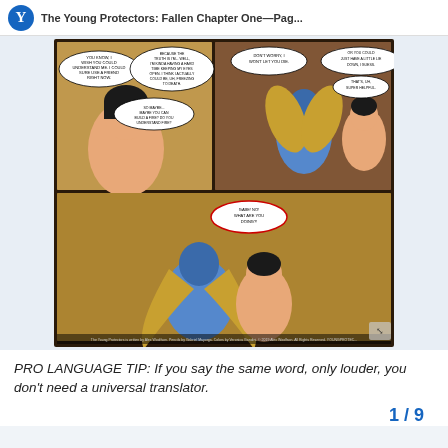The Young Protectors: Fallen Chapter One—Pag...
[Figure (illustration): Comic book page from 'The Young Protectors: Fallen' showing multiple panels. Top-left panel: a shirtless young man with dark hair lying in hay, speech bubble says 'YOU KNOW, I WISH YOU COULD UNDERSTAND ME. I COULD SURE USE A FRIEND RIGHT NOW.' and another bubble 'BECAUSE THE TRUTH IS I'M... WELL, I'M KINDA HAVING A HARD TIME KEEPING MY EYES OPEN. I THINK I ACTUALLY COULD BE, UH, FREEZING TO DEATH.' and 'SO MAYBE... MAYBE YOU CAN BUILD A FIRE? DO YOU UNDERSTAND FIRE?' Top-right panel: a blue-skinned figure with golden wings and a shirtless young man against a wooden wall, speech bubbles say 'DON'T WORRY, I WON'T LET YOU DIE.' and 'OR YOU COULD JUST HAVE A LITTLE LIE DOWN, I GUESS.' and 'THAT'S, UH, SUPER HELPFUL.' Bottom panel: the blue-winged figure embracing the shirtless young man in hay, speech bubble says 'GABE! NO! WHAT ARE YOU DOING?!' Credits at bottom: The Young Protectors is written by Alex Woolfson, Pencils by Gabriel Mayorga, Colors by Veronica Gandini. © 2019 Alex Woolfson. All Rights Reserved. YOUNGPROTEC...]
PRO LANGUAGE TIP: If you say the same word, only louder, you don't need a universal translator.
1 / 9